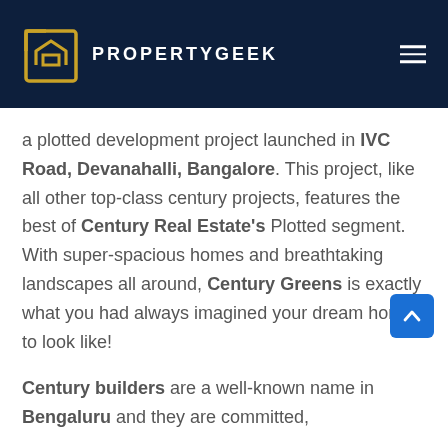PROPERTYGEEK
a plotted development project launched in IVC Road, Devanahalli, Bangalore. This project, like all other top-class century projects, features the best of Century Real Estate's Plotted segment. With super-spacious homes and breathtaking landscapes all around, Century Greens is exactly what you had always imagined your dream home to look like!
Century builders are a well-known name in Bengaluru and they are committed,